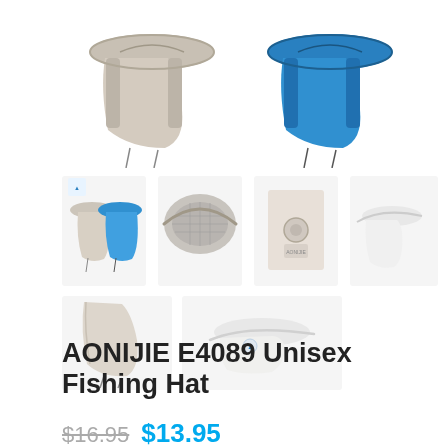[Figure (photo): Two fishing hats shown from the back — grey/beige on the left and blue on the right, each with neck flap and drawstring, photographed on plain white background]
[Figure (photo): Four thumbnail images of the AONIJIE E4089 fishing hat: (1) both color variants front view with logo, (2) top-down view of grey hat showing mesh panel, (3) close-up of snap button/tag detail, (4) side profile of white/light hat]
[Figure (photo): Two more thumbnail images: (1) close-up of beige neck flap with drawstring, (2) side profile of white hat without neck flap attached]
AONIJIE E4089 Unisex Fishing Hat
$16.95  $13.95